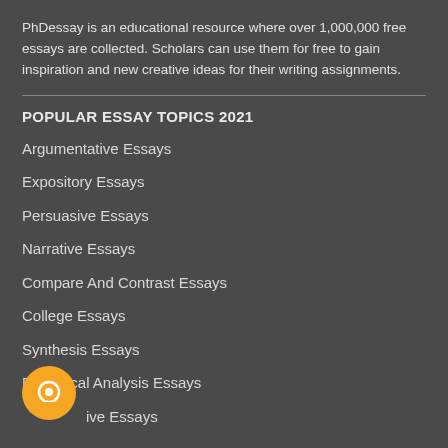PhDessay is an educational resource where over 1,000,000 free essays are collected. Scholars can use them for free to gain inspiration and new creative ideas for their writing assignments.
POPULAR ESSAY TOPICS 2021
Argumentative Essays
Expository Essays
Persuasive Essays
Narrative Essays
Compare And Contrast Essays
College Essays
Synthesis Essays
Rhetorical Analysis Essays
Informative Essays